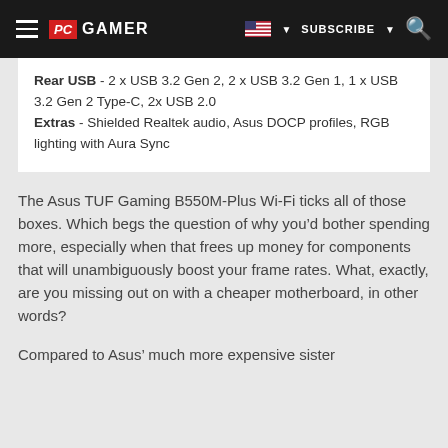PC GAMER | SUBSCRIBE
Rear USB - 2 x USB 3.2 Gen 2, 2 x USB 3.2 Gen 1, 1 x USB 3.2 Gen 2 Type-C, 2x USB 2.0
Extras - Shielded Realtek audio, Asus DOCP profiles, RGB lighting with Aura Sync
The Asus TUF Gaming B550M-Plus Wi-Fi ticks all of those boxes. Which begs the question of why you’d bother spending more, especially when that frees up money for components that will unambiguously boost your frame rates. What, exactly, are you missing out on with a cheaper motherboard, in other words?
Compared to Asus’ much more expensive sister